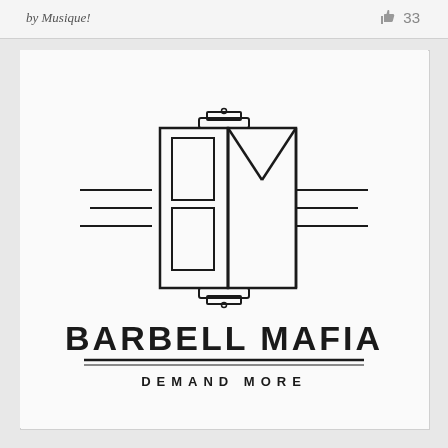by Musique!
33
[Figure (logo): Barbell Mafia logo: stylized BM monogram with barbell weights on left and right, speed lines extending horizontally, with text BARBELL MAFIA and tagline DEMAND MORE below]
BARBELL MAFIA
DEMAND MORE